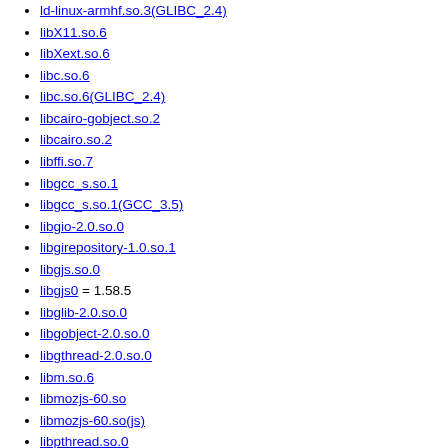ld-linux-armhf.so.3(GLIBC_2.4)
libX11.so.6
libXext.so.6
libc.so.6
libc.so.6(GLIBC_2.4)
libcairo-gobject.so.2
libcairo.so.2
libffi.so.7
libgcc_s.so.1
libgcc_s.so.1(GCC_3.5)
libgio-2.0.so.0
libgirepository-1.0.so.1
libgjs.so.0
libgjs0 = 1.58.5
libglib-2.0.so.0
libgobject-2.0.so.0
libgthread-2.0.so.0
libm.so.6
libmozjs-60.so
libmozjs-60.so(js)
libpthread.so.0
libpthread.so.0(GLIBC_2.4)
libreadline.so.7
libstdc++.so.6
rpmlib(CompressedFileNames) <= 3.0.4-1
rpmlib(FileDigests) <= 4.6.0-1